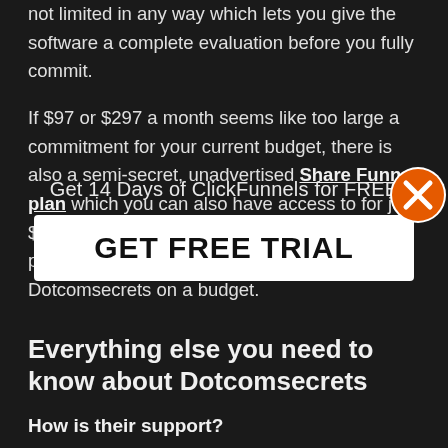not limited in any way which lets you give the software a complete evaluation before you fully commit.
If $97 or $297 a month seems like too large a commitment for your current budget, there is also a semi-secret, unadvertised Share Funnel plan which you can also have access to for just $19 a month. This gives you 3 funnels and 10 pages which is actually a great way to try out Dotcomsecrets on a budget.
[Figure (infographic): Popup overlay with text 'Get 14 Days of ClickFunnels for FREE' and a white button reading 'GET FREE TRIAL', with an orange X close button in the top right]
Everything else you need to know about Dotcomsecrets
How is their support?